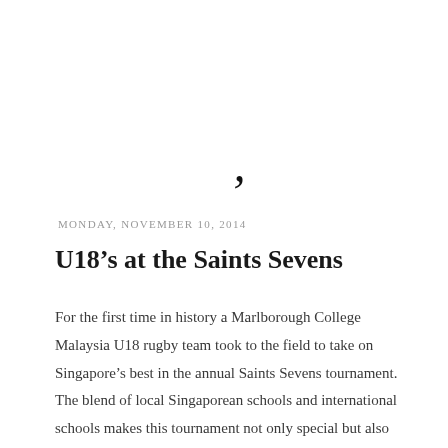[Figure (other): A small curved comma or apostrophe mark, appearing as a decorative or artifact element near the top center of the page]
MONDAY, NOVEMBER 10, 2014
U18's at the Saints Sevens
For the first time in history a Marlborough College Malaysia U18 rugby team took to the field to take on Singapore's best in the annual Saints Sevens tournament. The blend of local Singaporean schools and international schools makes this tournament not only special but also extremely challenging. On day one